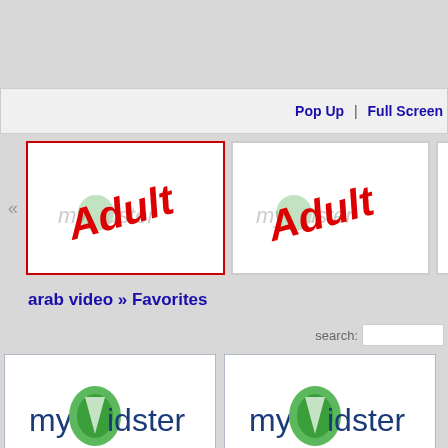[Figure (screenshot): Web UI player bar with 'Pop Up | Full Screen' links in blue]
[Figure (screenshot): Thumbnail strip showing two 'Adult myVidster' placeholder thumbnails with red border on first]
arab video » Favorites
[Figure (screenshot): Search bar with label 'search:']
[Figure (screenshot): Two myVidster logo placeholder thumbnails at the bottom]